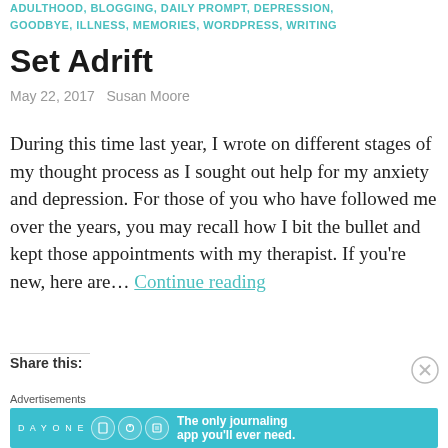ADULTHOOD, BLOGGING, DAILY PROMPT, DEPRESSION, GOODBYE, ILLNESS, MEMORIES, WORDPRESS, WRITING
Set Adrift
May 22, 2017   Susan Moore
During this time last year, I wrote on different stages of my thought process as I sought out help for my anxiety and depression. For those of you who have followed me over the years, you may recall how I bit the bullet and kept those appointments with my therapist. If you're new, here are… Continue reading
Share this:
[Figure (other): Advertisement banner for Day One journaling app with text: The only journaling app you'll ever need.]